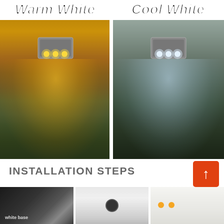Warm White
Cool White
[Figure (photo): Side-by-side comparison of a solar LED wall light illuminating outdoor plants. Left image shows warm white light with an orange/yellow tint on green shrubbery. Right image shows cool white light with a blue-white tint on the same shrubbery.]
INSTALLATION STEPS
[Figure (photo): Three installation step photos partially visible at the bottom of the page showing the mounting process of the solar LED light.]